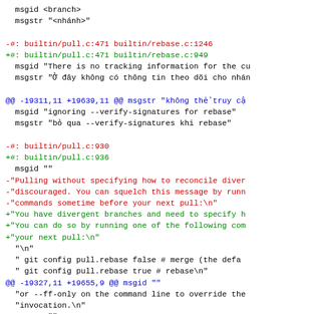diff/patch content showing git localization changes with red/green diff markers and blue context markers